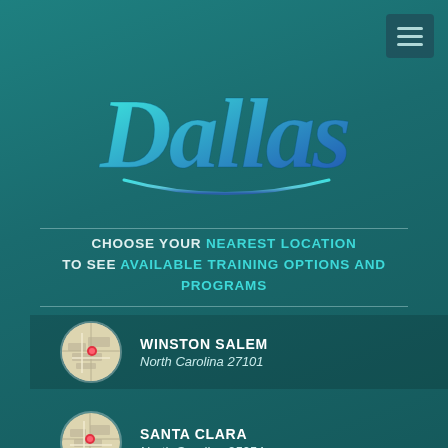Dallas
CHOOSE YOUR NEAREST LOCATION TO SEE AVAILABLE TRAINING OPTIONS AND PROGRAMS
WINSTON SALEM — North Carolina 27101
SANTA CLARA — North Carolina 95054
DUBAI — Dubai 27107